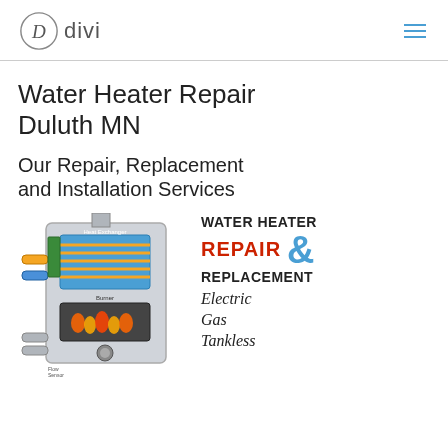D divi [navigation menu icon]
Water Heater Repair Duluth MN
Our Repair, Replacement and Installation Services
[Figure (illustration): Water heater diagram showing internal components (Heat Exchanger, Burner) alongside text 'WATER HEATER REPAIR & REPLACEMENT Electric Gas Tankless']